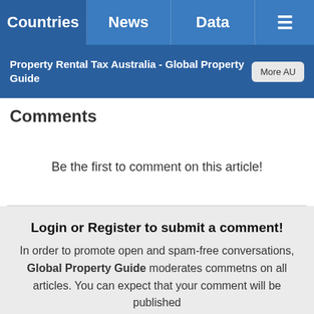Countries | News | Data | ☰
Property Rental Tax Australia - Global Property Guide | More AU
Comments
Be the first to comment on this article!
Login or Register to submit a comment! In order to promote open and spam-free conversations, Global Property Guide moderates commetns on all articles. You can expect that your comment will be published